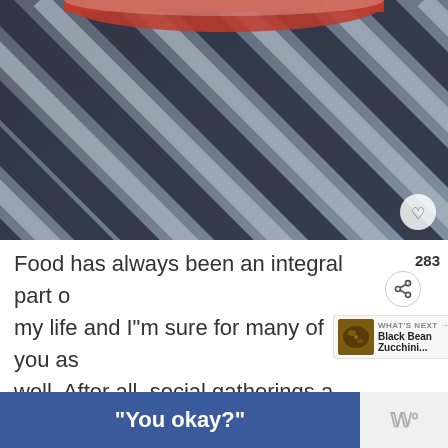[Figure (photo): Close-up photograph of dark navy and light gray diagonal striped fabric/cloth, with a partial red bowl or dish visible at the top edge. A white heart/like button is overlaid in the bottom-right corner.]
Food has always been an integral part of my life and I"m sure for many of you as well. After all, social gatherings and go hand in hand.
[Figure (infographic): UI overlay showing share count '283', a share button icon, and a 'WHAT'S NEXT' thumbnail card showing 'Black Bean Zucchini...']
[Figure (infographic): Banner advertisement with blue background showing text '"You okay?"' and a gray section with stylized 'W' logo on the right.]